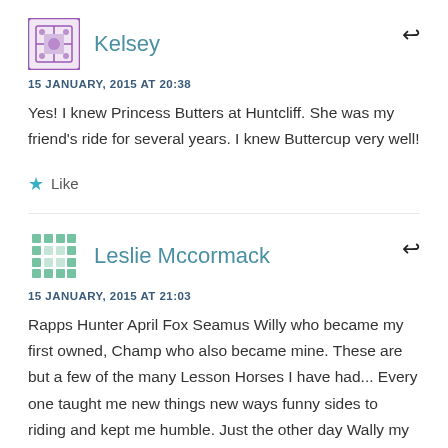Kelsey
15 JANUARY, 2015 AT 20:38
Yes! I knew Princess Butters at Huntcliff. She was my friend's ride for several years. I knew Buttercup very well!
★ Like
Leslie Mccormack
15 JANUARY, 2015 AT 21:03
Rapps Hunter April Fox Seamus Willy who became my first owned, Champ who also became mine. These are but a few of the many Lesson Horses I have had... Every one taught me new things new ways funny sides to riding and kept me humble. Just the other day Wally my